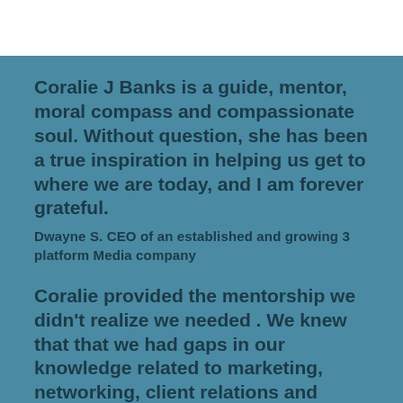Coralie J Banks is a guide, mentor, moral compass and compassionate soul. Without question, she has been a true inspiration in helping us get to where we are today, and I am forever grateful.
Dwayne S. CEO of an established and growing 3 platform Media company
Coralie provided the mentorship we didn't realize we needed . We knew that that we had gaps in our knowledge related to marketing, networking, client relations and more, but as we met with her, it became more apparent what opportunities we were missing. With her personal, one-on-one